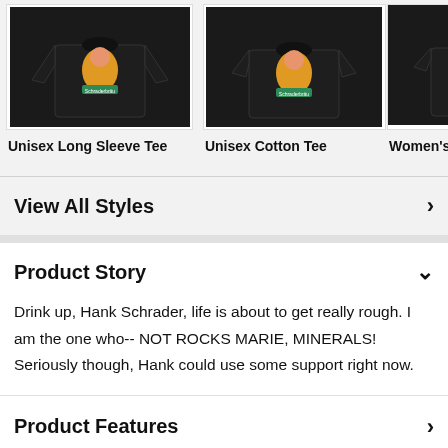[Figure (photo): Black long sleeve tee with Schraderbräu graphic]
Unisex Long Sleeve Tee
[Figure (photo): Black unisex cotton tee with Schraderbräu graphic]
Unisex Cotton Tee
[Figure (photo): Black women's cotton tee with Schraderbräu graphic (partially visible)]
Women's Co
View All Styles
Product Story
Drink up, Hank Schrader, life is about to get really rough. I am the one who-- NOT ROCKS MARIE, MINERALS! Seriously though, Hank could use some support right now.
Product Features